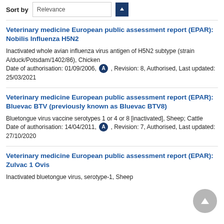Sort by   Relevance
Veterinary medicine European public assessment report (EPAR): Nobilis Influenza H5N2
Inactivated whole avian influenza virus antigen of H5N2 subtype (strain A/duck/Potsdam/1402/86), Chicken
Date of authorisation: 01/09/2006, A , Revision: 8, Authorised, Last updated: 25/03/2021
Veterinary medicine European public assessment report (EPAR): Bluevac BTV (previously known as Bluevac BTV8)
Bluetongue virus vaccine serotypes 1 or 4 or 8 [inactivated], Sheep; Cattle
Date of authorisation: 14/04/2011, A , Revision: 7, Authorised, Last updated: 27/10/2020
Veterinary medicine European public assessment report (EPAR): Zulvac 1 Ovis
Inactivated bluetongue virus, serotype-1, Sheep